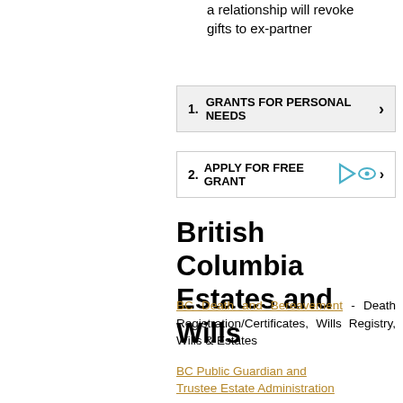a relationship will revoke gifts to ex-partner
1. GRANTS FOR PERSONAL NEEDS
2. APPLY FOR FREE GRANT
British Columbia Estates and Wills
BC Death and Bereavement - Death Registration/Certificates, Wills Registry, Wills & Estates
BC Public Guardian and Trustee Estate Administration
Your Duties as Executor - Canadian Bar Association BC Branch
Insurance Corporation of BC (ICBC) Checklist for Estate